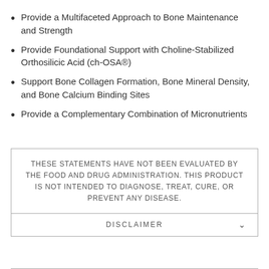Provide a Multifaceted Approach to Bone Maintenance and Strength
Provide Foundational Support with Choline-Stabilized Orthosilicic Acid (ch-OSA®)
Support Bone Collagen Formation, Bone Mineral Density, and Bone Calcium Binding Sites
Provide a Complementary Combination of Micronutrients
THESE STATEMENTS HAVE NOT BEEN EVALUATED BY THE FOOD AND DRUG ADMINISTRATION. THIS PRODUCT IS NOT INTENDED TO DIAGNOSE, TREAT, CURE, OR PREVENT ANY DISEASE.
DISCLAIMER